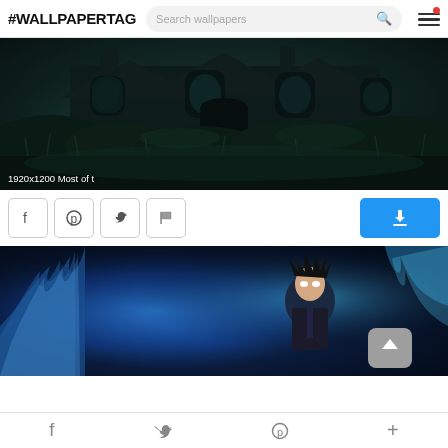#WALLPAPERTAG  Search wallpapers
[Figure (photo): Dark haunted house with overgrown grass at night, teal-tinted atmosphere. Caption: 1920x1200 Most of t]
1920x1200 Most of t
[Figure (screenshot): Social share buttons: Facebook, Pinterest, Twitter, Flag; and a blue download button on the right]
[Figure (photo): Anime character with blue electric/fire aura, dark background, with a back-to-top button overlay]
f  Twitter bird  p  +